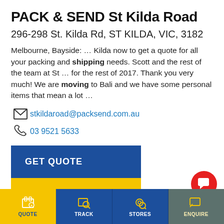PACK & SEND St Kilda Road
296-298 St. Kilda Rd, ST KILDA, VIC, 3182
Melbourne, Bayside: … Kilda now to get a quote for all your packing and shipping needs. Scott and the rest of the team at St … for the rest of 2017. Thank you very much! We are moving to Bali and we have some personal items that mean a lot …
stkildaroad@packsend.com.au
03 9521 5633
GET QUOTE
VIEW DETAILS →
PACK & SEND Brisbane City
QUOTE  TRACK  STORES  ENQUIRE